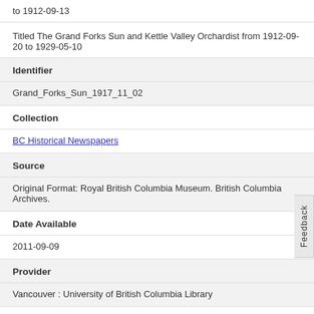to 1912-09-13
Titled The Grand Forks Sun and Kettle Valley Orchardist from 1912-09-20 to 1929-05-10
Identifier
Grand_Forks_Sun_1917_11_02
Collection
BC Historical Newspapers
Source
Original Format: Royal British Columbia Museum. British Columbia Archives.
Date Available
2011-09-09
Provider
Vancouver : University of British Columbia Library
Rights